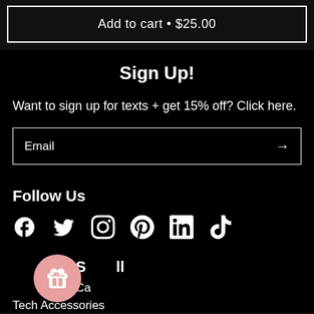Add to cart • $25.00
Sign Up!
Want to sign up for texts + get 15% off? Click here.
Email →
Follow Us
[Figure (infographic): Social media icons: Facebook, Twitter, Instagram, Pinterest, LinkedIn, TikTok]
Shop All
Categories
Tech Accessories